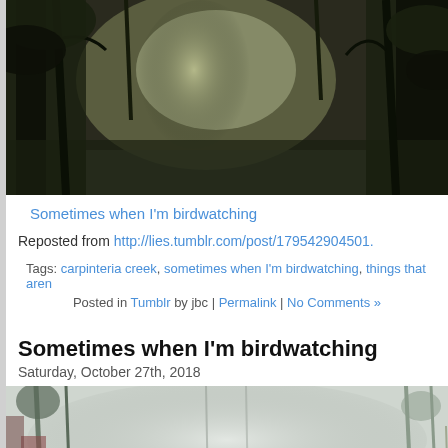[Figure (photo): Dark misty forest path with light filtering through trees, dark and atmospheric]
Sometimes when I'm birdwatching
Reposted from http://lies.tumblr.com/post/179542904501.
Tags: carpinteria creek, sometimes when I'm birdwatching, things that aren...
Posted in Tumblr by jbc | Permalink | No Comments »
Sometimes when I'm birdwatching
Saturday, October 27th, 2018
[Figure (photo): Misty foggy forest scene with trees visible through white haze, lighter atmosphere than the first photo]